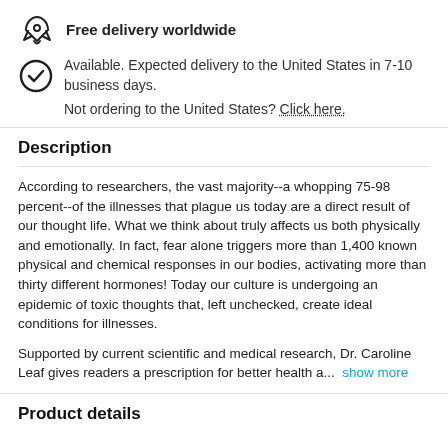[Figure (illustration): Rocket/delivery icon]
Free delivery worldwide
[Figure (illustration): Checkmark circle icon]
Available. Expected delivery to the United States in 7-10 business days.
Not ordering to the United States? Click here.
Description
According to researchers, the vast majority--a whopping 75-98 percent--of the illnesses that plague us today are a direct result of our thought life. What we think about truly affects us both physically and emotionally. In fact, fear alone triggers more than 1,400 known physical and chemical responses in our bodies, activating more than thirty different hormones! Today our culture is undergoing an epidemic of toxic thoughts that, left unchecked, create ideal conditions for illnesses.
Supported by current scientific and medical research, Dr. Caroline Leaf gives readers a prescription for better health a... show more
Product details